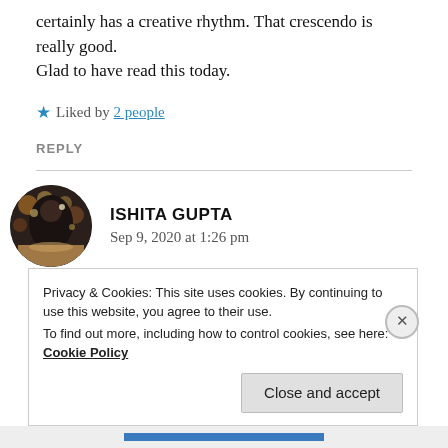certainly has a creative rhythm. That crescendo is really good.
Glad to have read this today.
★ Liked by 2 people
REPLY
[Figure (photo): Circular avatar photo of Ishita Gupta showing a person at a table with bokeh background]
ISHITA GUPTA
Sep 9, 2020 at 1:26 pm
Privacy & Cookies: This site uses cookies. By continuing to use this website, you agree to their use.
To find out more, including how to control cookies, see here: Cookie Policy
Close and accept